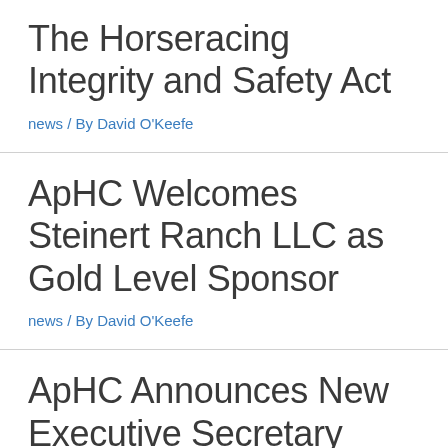The Horseracing Integrity and Safety Act
news / By David O'Keefe
ApHC Welcomes Steinert Ranch LLC as Gold Level Sponsor
news / By David O'Keefe
ApHC Announces New Executive Secretary